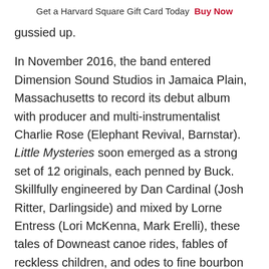Get a Harvard Square Gift Card Today  Buy Now
gussied up.
In November 2016, the band entered Dimension Sound Studios in Jamaica Plain, Massachusetts to record its debut album with producer and multi-instrumentalist Charlie Rose (Elephant Revival, Barnstar). Little Mysteries soon emerged as a strong set of 12 originals, each penned by Buck. Skillfully engineered by Dan Cardinal (Josh Ritter, Darlingside) and mixed by Lorne Entress (Lori McKenna, Mark Erelli), these tales of Downeast canoe rides, fables of reckless children, and odes to fine bourbon reward each new listen